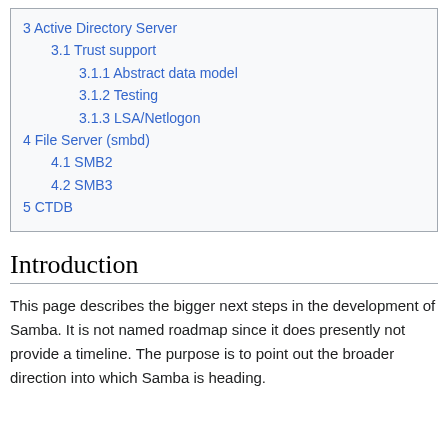3 Active Directory Server
3.1 Trust support
3.1.1 Abstract data model
3.1.2 Testing
3.1.3 LSA/Netlogon
4 File Server (smbd)
4.1 SMB2
4.2 SMB3
5 CTDB
Introduction
This page describes the bigger next steps in the development of Samba. It is not named roadmap since it does presently not provide a timeline. The purpose is to point out the broader direction into which Samba is heading.